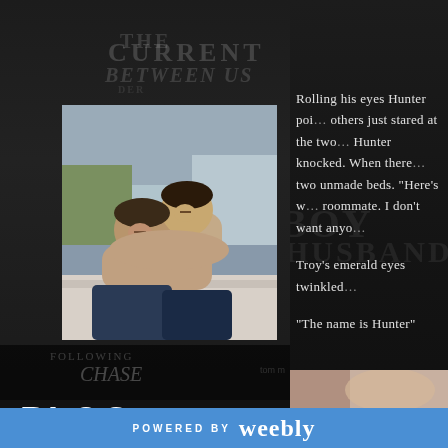[Figure (screenshot): Website screenshot showing a blog page with two-column layout. Left panel has a dark background with book cover watermarks, a photo of two men, and navigation links (BLOG, ABOUT, CONTACT) with social icons. Right panel shows story text excerpt and a partial photo. Bottom has a blue 'Powered by Weebly' banner.]
Rolling his eyes Hunter poi... others just stared at the two... Hunter knocked. When there... two unmade beds. "Here's w... roommate. I don't want anyo...
Troy's emerald eyes twinkled...
"The name is Hunter"
BLOG
ABOUT
CONTACT
POWERED BY weebly